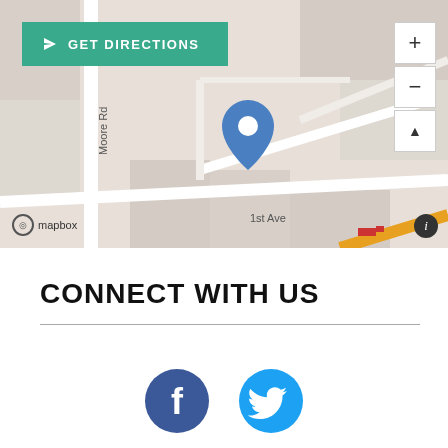[Figure (map): Mapbox street map showing location pin near Moore Rd and 1st Ave intersection, with GET DIRECTIONS button and zoom controls]
CONNECT WITH US
[Figure (infographic): Facebook and Twitter circular social media icon buttons in blue]